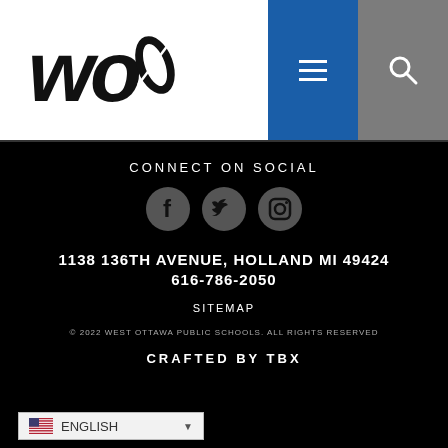[Figure (logo): West Ottawa WO logo with stylized text 'wo' in bold italic black]
[Figure (other): Navigation bar with blue hamburger menu button and grey search icon button]
CONNECT ON SOCIAL
[Figure (other): Three social media icons: Facebook, Twitter, Instagram — dark grey circles on black background]
1138 136TH AVENUE, HOLLAND MI 49424
616-786-2050
SITEMAP
© 2022 WEST OTTAWA PUBLIC SCHOOLS. ALL RIGHTS RESERVED
CRAFTED BY TBX
ENGLISH